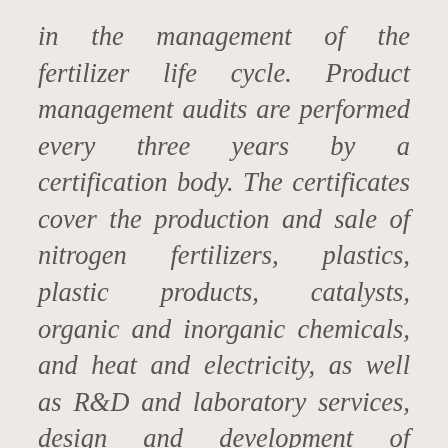in the management of the fertilizer life cycle. Product management audits are performed every three years by a certification body. The certificates cover the production and sale of nitrogen fertilizers, plastics, plastic products, catalysts, organic and inorganic chemicals, and heat and electricity, as well as R&D and laboratory services, design and development of chemical products and plastics, and oversight of joint